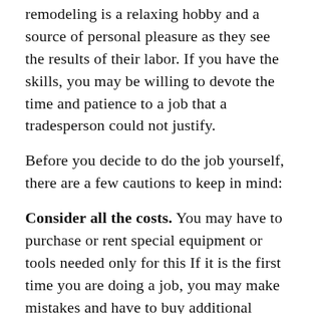remodeling is a relaxing hobby and a source of personal pleasure as they see the results of their labor. If you have the skills, you may be willing to devote the time and patience to a job that a tradesperson could not justify.
Before you decide to do the job yourself, there are a few cautions to keep in mind:
Consider all the costs. You may have to purchase or rent special equipment or tools needed only for this If it is the first time you are doing a job, you may make mistakes and have to buy additional materials. You will also be